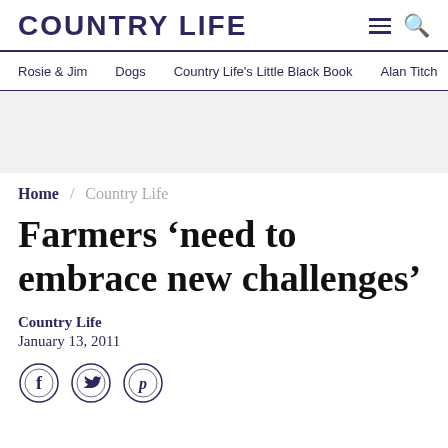COUNTRY LIFE
Rosie & Jim  Dogs  Country Life's Little Black Book  Alan Titch
[Figure (other): Grey advertisement placeholder banner]
Home / Country Life
Farmers 'need to embrace new challenges'
Country Life
January 13, 2011
[Figure (other): Social sharing icons: Facebook, Twitter, Pinterest]